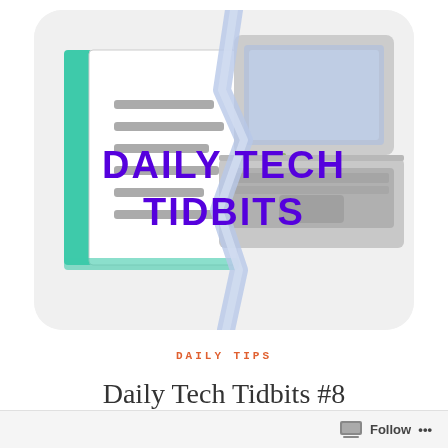[Figure (logo): Daily Tech Tidbits logo: rounded rectangle with illustration of an open book on the left half and a laptop on the right half, split by a lightning bolt crack. Bold purple text reads 'DAILY TECH TIDBITS' overlaid in the center.]
DAILY TIPS
Daily Tech Tidbits #8
Follow ...